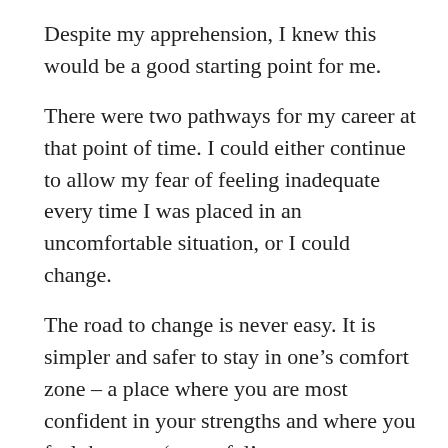Despite my apprehension, I knew this would be a good starting point for me.
There were two pathways for my career at that point of time. I could either continue to allow my fear of feeling inadequate every time I was placed in an uncomfortable situation, or I could change.
The road to change is never easy. It is simpler and safer to stay in one’s comfort zone – a place where you are most confident in your strengths and where you feel the most ‘powerful’.
Yet, the outcome of change is growth. By leading a focus group discussion, I was tested in a situation where I felt that I had to prove myself, where my weaknesses were exposed and I had to quickly make